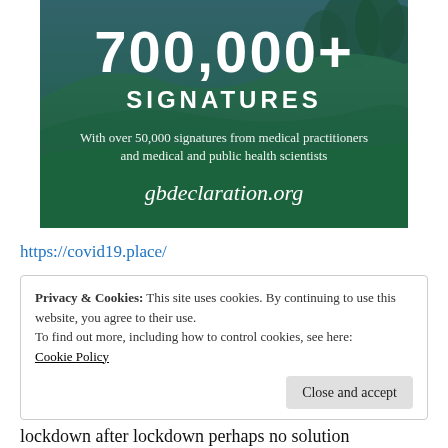[Figure (infographic): Green landscape banner with white text reading '700,000+ SIGNATURES' and subtitle 'With over 50,000 signatures from medical practitioners and medical and public health scientists', and 'gbdeclaration.org']
https://covid19.place/
Privacy & Cookies: This site uses cookies. By continuing to use this website, you agree to their use.
To find out more, including how to control cookies, see here:
Cookie Policy
Close and accept
lockdown after lockdown perhaps no solution